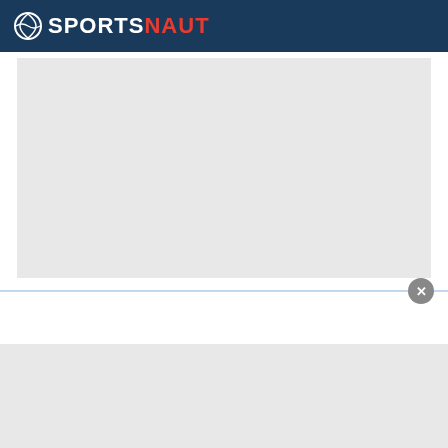SPORTSNAUT
[Figure (other): Gray placeholder advertisement rectangle]
Florida Gov. DeSantis proposes cops, other first responders fill teacher
By TheGrio
[Figure (other): Popup advertisement overlay with close button and gray ad placeholder]